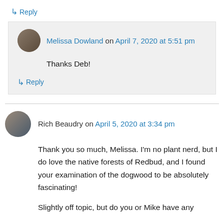↳ Reply
Melissa Dowland on April 7, 2020 at 5:51 pm
Thanks Deb!
↳ Reply
Rich Beaudry on April 5, 2020 at 3:34 pm
Thank you so much, Melissa. I'm no plant nerd, but I do love the native forests of Redbud, and I found your examination of the dogwood to be absolutely fascinating!
Slightly off topic, but do you or Mike have any